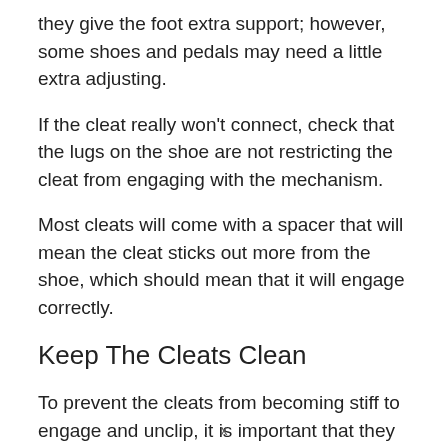they give the foot extra support; however, some shoes and pedals may need a little extra adjusting.
If the cleat really won't connect, check that the lugs on the shoe are not restricting the cleat from engaging with the mechanism.
Most cleats will come with a spacer that will mean the cleat sticks out more from the shoe, which should mean that it will engage correctly.
Keep The Cleats Clean
To prevent the cleats from becoming stiff to engage and unclip, it is important that they remain clean and don't develop any rust. The best way to do this
x